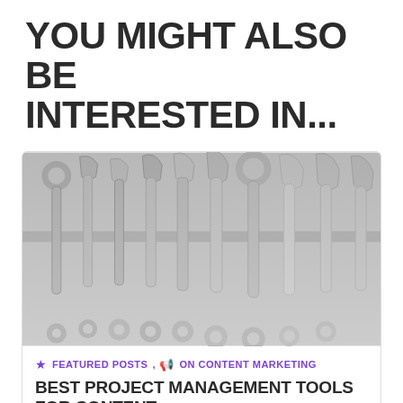YOU MIGHT ALSO BE INTERESTED IN...
[Figure (photo): A row of metal combination wrenches of varying sizes arranged on a surface, photographed from above, showing both open and box ends.]
★ FEATURED POSTS, 📢 ON CONTENT MARKETING
BEST PROJECT MANAGEMENT TOOLS FOR CONTENT MARKETERS